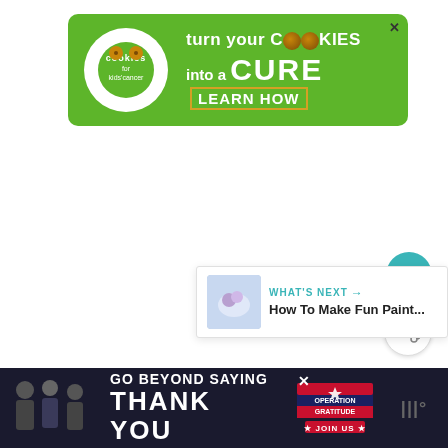[Figure (infographic): Green banner advertisement: 'cookies for kids cancer – turn your COOKIES into a CURE LEARN HOW' with cookie logo on left]
[Figure (infographic): Teal circular heart/favorite button]
[Figure (infographic): White circular share button]
[Figure (infographic): WHAT'S NEXT panel with thumbnail and title 'How To Make Fun Paint...']
[Figure (infographic): Bottom dark banner advertisement: 'GO BEYOND SAYING THANK YOU – Operation Gratitude JOIN US' with persons image on left]